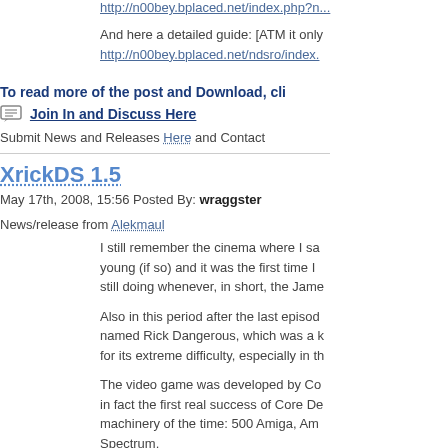http://n00bey.bplaced.net/index.php?n...
And here a detailed guide: [ATM it only
http://n00bey.bplaced.net/ndsro/index.
To read more of the post and Download, cli
Join In and Discuss Here
Submit News and Releases Here and Contact
XrickDS 1.5
May 17th, 2008, 15:56 Posted By: wraggster
News/release from Alekmaul
I still remember the cinema where I sa young (if so) and it was the first time I still doing whenever, in short, the Jame
Also in this period after the last episod named Rick Dangerous, which was a k for its extreme difficulty, especially in th
The video game was developed by Co in fact the first real success of Core De machinery of the time: 500 Amiga, Am Spectrum.
The game has acquired a cult status a made the DS version, have emerged t of the game in 32Ko o_O).
xrick DS 1.5